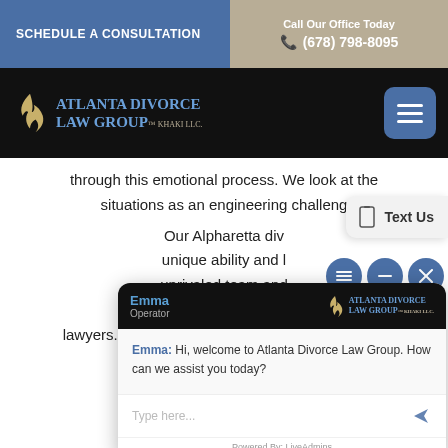SCHEDULE A CONSULTATION
Call Our Office Today (678) 798-8095
[Figure (logo): Atlanta Divorce Law Group - Khaki LLC logo with flame icon on black navigation bar]
through this emotional process. We look at the situations as an engineering challeng…
Our Alpharetta div… unique ability and l… unrivaled team and… that burn out and… lawyers. Our union team and expert analyze and support the critical co… solve these challen… and true value to our clients.
[Figure (screenshot): Chat widget popup from Emma, Operator at Atlanta Divorce Law Group with message: Hi, welcome to Atlanta Divorce Law Group. How can we assist you today? With type here input and Powered By: LiveAdmins footer.]